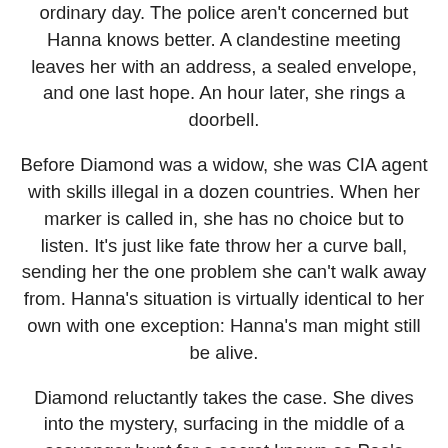ordinary day. The police aren't concerned but Hanna knows better. A clandestine meeting leaves her with an address, a sealed envelope, and one last hope. An hour later, she rings a doorbell.
Before Diamond was a widow, she was CIA agent with skills illegal in a dozen countries. When her marker is called in, she has no choice but to listen. It's just like fate throw her a curve ball, sending her the one problem she can't walk away from. Hanna's situation is virtually identical to her own with one exception: Hanna's man might still be alive.
Diamond reluctantly takes the case. She dives into the mystery, surfacing in the middle of a scavenger hunt for a secret known as Poe's Raven. It takes Diamond's flair for the impossible to capture this bird, only to discover what's in her hand has the potential to take terrorism to a chilling new level. And fate isn't done with